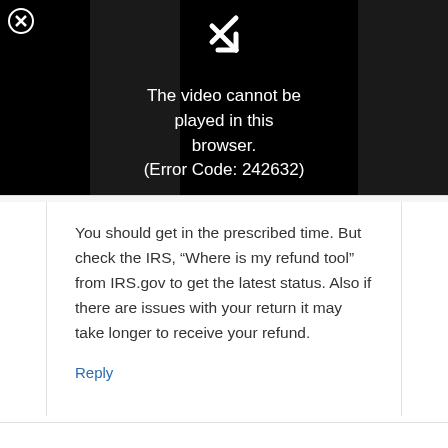[Figure (screenshot): Video player showing error: 'The video cannot be played in this browser. (Error Code: 242632)' on black background with close button (X) in top left.]
You should get in the prescribed time. But check the IRS, “Where is my refund tool” from IRS.gov to get the latest status. Also if there are issues with your return it may take longer to receive your refund.
Reply